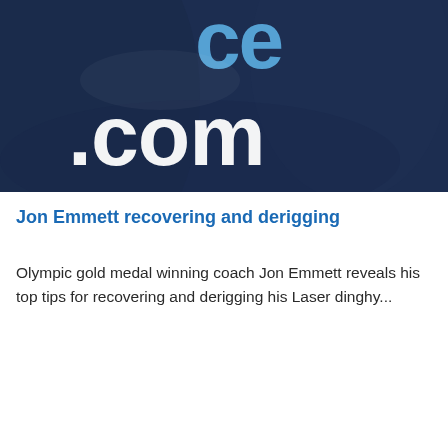[Figure (photo): Close-up photo of a dark navy blue fabric/clothing item showing white and light blue text logo with '.com' visible, partial text above showing 'ce' letters]
Jon Emmett recovering and derigging
Olympic gold medal winning coach Jon Emmett reveals his top tips for recovering and derigging his Laser dinghy...